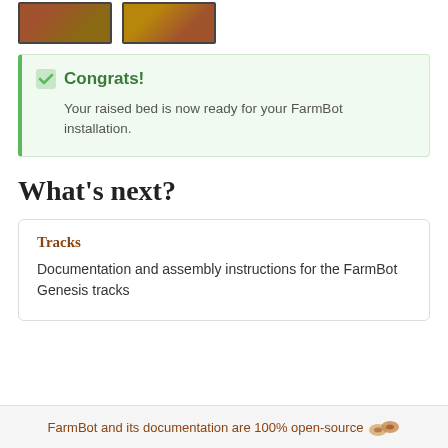[Figure (photo): Two cropped photos of a raised garden bed installation]
Congrats! Your raised bed is now ready for your FarmBot installation.
What's next?
Tracks
Documentation and assembly instructions for the FarmBot Genesis tracks
FarmBot and its documentation are 100% open-source